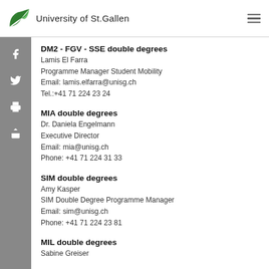University of St.Gallen
DM2 - FGV - SSE double degrees
Lamis El Farra
Programme Manager Student Mobility
Email: lamis.elfarra@unisg.ch
Tel.:+41 71 224 23 24
MIA double degrees
Dr. Daniela Engelmann
Executive Director
Email: mia@unisg.ch
Phone: +41 71 224 31 33
SIM double degrees
Amy Kasper
SIM Double Degree Programme Manager
Email: sim@unisg.ch
Phone: +41 71 224 23 81
MIL double degrees
Sabine Greiser